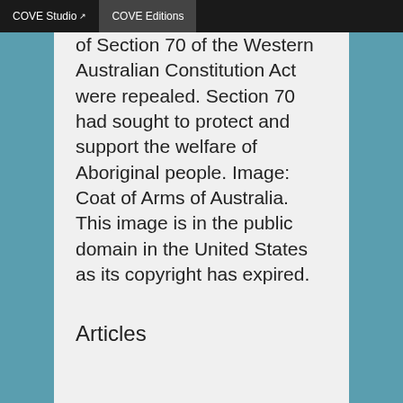COVE Studio  COVE Editions
of Section 70 of the Western Australian Constitution Act were repealed. Section 70 had sought to protect and support the welfare of Aboriginal people. Image: Coat of Arms of Australia. This image is in the public domain in the United States as its copyright has expired.
Articles